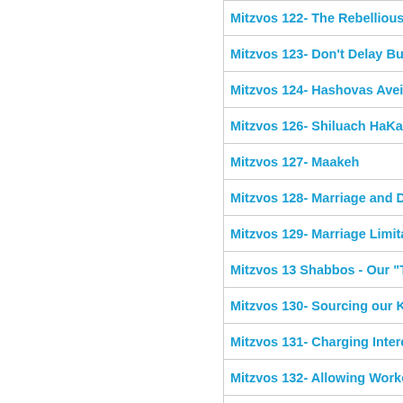Mitzvos 122- The Rebellious So
Mitzvos 123- Don't Delay Buria
Mitzvos 124- Hashovas Aveida
Mitzvos 126- Shiluach HaKan
Mitzvos 127- Maakeh
Mitzvos 128- Marriage and Divo
Mitzvos 129- Marriage Limitatio
Mitzvos 13 Shabbos - Our "Tem
Mitzvos 130- Sourcing our Kar
Mitzvos 131- Charging Interest
Mitzvos 132- Allowing Workers